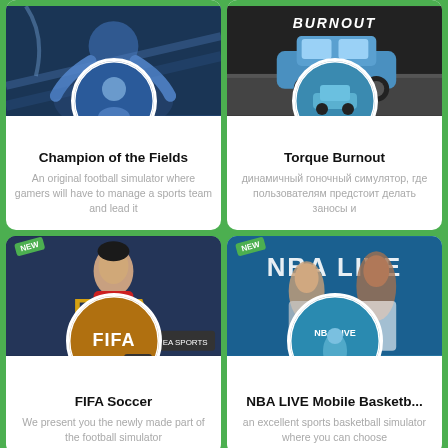[Figure (screenshot): Champion of the Fields game card with football/basketball player image and circular avatar]
Champion of the Fields
An original football simulator where gamers will have to manage a sports team and lead it
[Figure (screenshot): Torque Burnout game card with blue car racing image and circular avatar]
Torque Burnout
динамичный гоночный симулятор, где пользователям предстоит делать заносы и
[Figure (screenshot): FIFA Soccer game card with NEW badge, player image and FIFA circular logo]
FIFA Soccer
We present you the newly made part of the football simulator
[Figure (screenshot): NBA LIVE Mobile Basketball game card with NEW badge, basketball player image and NBA LIVE circular logo]
NBA LIVE Mobile Basketb...
an excellent sports basketball simulator where you can choose